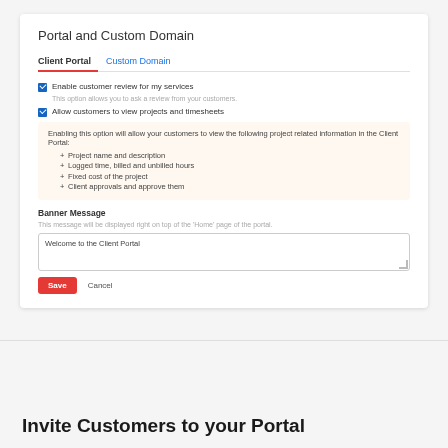Portal and Custom Domain
Client Portal | Custom Domain
Enable customer review for my services
This option allows you to ask a review from your customers.
Allow customers to view projects and timesheets
Enabling this option will allow your customers to view the following project related information in the Client Portal:
Project name and description
Logged time, billed and unbilled hours
Fixed cost of the project
Client approvals and approve them
Banner Message
This message will be displayed right on top of the 'Home' page of the portal.
Welcome to the Client Portal
Save   Cancel
Invite Customers to your Portal